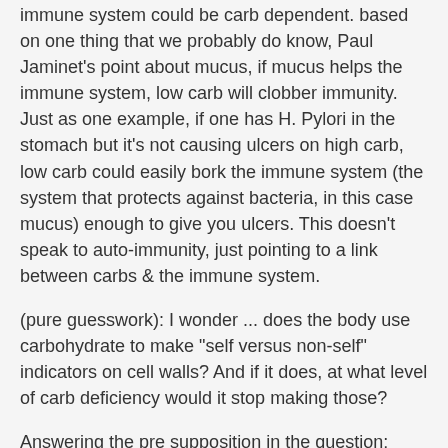immune system could be carb dependent. based on one thing that we probably do know, Paul Jaminet's point about mucus, if mucus helps the immune system, low carb will clobber immunity. Just as one example, if one has H. Pylori in the stomach but it's not causing ulcers on high carb, low carb could easily bork the immune system (the system that protects against bacteria, in this case mucus) enough to give you ulcers. This doesn't speak to auto-immunity, just pointing to a link between carbs & the immune system.
(pure guesswork): I wonder ... does the body use carbohydrate to make "self versus non-self" indicators on cell walls? And if it does, at what level of carb deficiency would it stop making those?
Answering the pre supposition in the question:
there are a lot of reasons thyroid can be low besides autoimmune disorders.
iodine deficiency